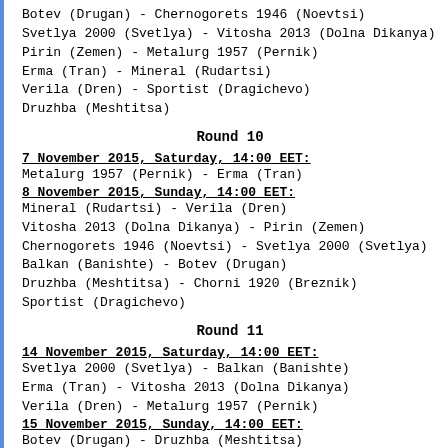Botev (Drugan) - Chernogorets 1946 (Noevtsi)
Svetlya 2000 (Svetlya) - Vitosha 2013 (Dolna Dikanya)
Pirin (Zemen) - Metalurg 1957 (Pernik)
Erma (Tran) - Mineral (Rudartsi)
Verila (Dren) - Sportist (Dragichevo)
Druzhba (Meshtitsa)
Round 10
7 November 2015, Saturday, 14:00 EET:
Metalurg 1957 (Pernik) - Erma (Tran)
8 November 2015, Sunday, 14:00 EET:
Mineral (Rudartsi) - Verila (Dren)
Vitosha 2013 (Dolna Dikanya) - Pirin (Zemen)
Chernogorets 1946 (Noevtsi) - Svetlya 2000 (Svetlya)
Balkan (Banishte) - Botev (Drugan)
Druzhba (Meshtitsa) - Chorni 1920 (Breznik)
Sportist (Dragichevo)
Round 11
14 November 2015, Saturday, 14:00 EET:
Svetlya 2000 (Svetlya) - Balkan (Banishte)
Erma (Tran) - Vitosha 2013 (Dolna Dikanya)
Verila (Dren) - Metalurg 1957 (Pernik)
15 November 2015, Sunday, 14:00 EET:
Botev (Drugan) - Druzhba (Meshtitsa)
Pirin (Zemen) - Chernogorets 1946 (Noevtsi)
Sportist (Dragichevo) - Mineral (Rudartsi)
Chorni 1920 (Breznik)